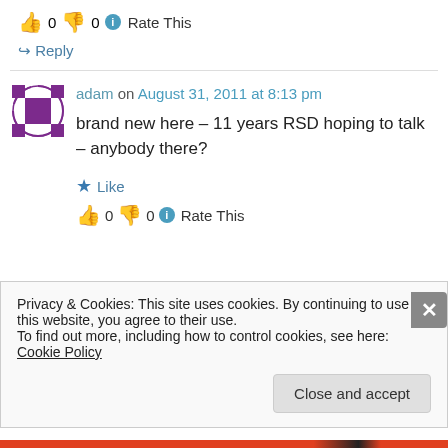👍 0 👎 0 ℹ Rate This
↪ Reply
adam on August 31, 2011 at 8:13 pm
brand new here – 11 years RSD hoping to talk – anybody there?
★ Like
👍 0 👎 0 ℹ Rate This
Privacy & Cookies: This site uses cookies. By continuing to use this website, you agree to their use. To find out more, including how to control cookies, see here: Cookie Policy
Close and accept